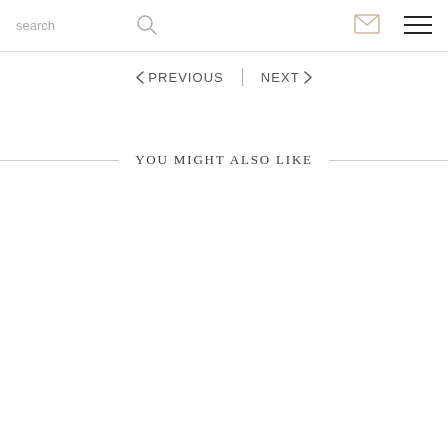search
< PREVIOUS   NEXT >
YOU MIGHT ALSO LIKE